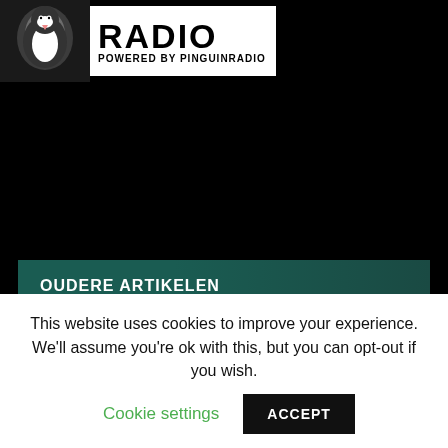[Figure (logo): Radio logo with penguin icon and text RADIO POWERED BY PINGUINRADIO on white background]
OUDERE ARTIKELEN
Maand selecteren (dropdown)
CATEGORIEËN
Categorie selecteren (dropdown)
This website uses cookies to improve your experience. We'll assume you're ok with this, but you can opt-out if you wish.
Cookie settings
ACCEPT